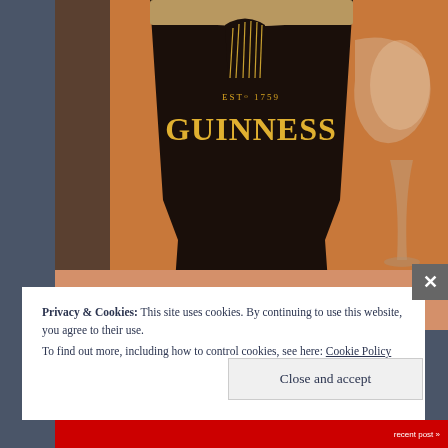[Figure (photo): A pint glass of Guinness stout (Est. 1759) sitting on a table, photographed from above at an angle. The dark beer glass shows the Guinness logo with harp. A wine glass is visible in the background at a restaurant setting.]
Privacy & Cookies: This site uses cookies. By continuing to use this website, you agree to their use.
To find out more, including how to control cookies, see here: Cookie Policy
Close and accept